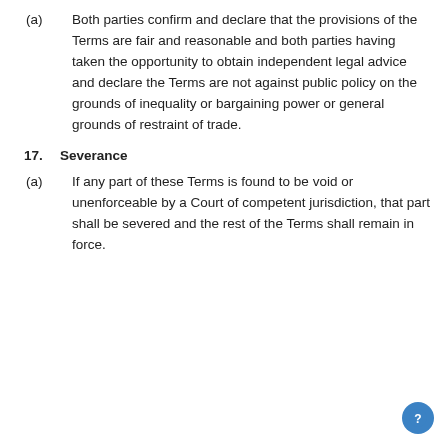(a)   Both parties confirm and declare that the provisions of the Terms are fair and reasonable and both parties having taken the opportunity to obtain independent legal advice and declare the Terms are not against public policy on the grounds of inequality or bargaining power or general grounds of restraint of trade.
17.   Severance
(a)   If any part of these Terms is found to be void or unenforceable by a Court of competent jurisdiction, that part shall be severed and the rest of the Terms shall remain in force.